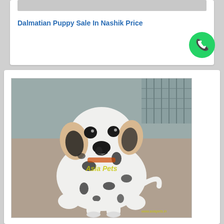[Figure (photo): Partial image strip visible at top of upper card (cropped/partially shown)]
Dalmatian Puppy Sale In Nashik Price
[Figure (photo): Photo of a Dalmatian puppy sitting, white with black spots, watermarked with 'Asia Pets' and 'www.asiapets.in']